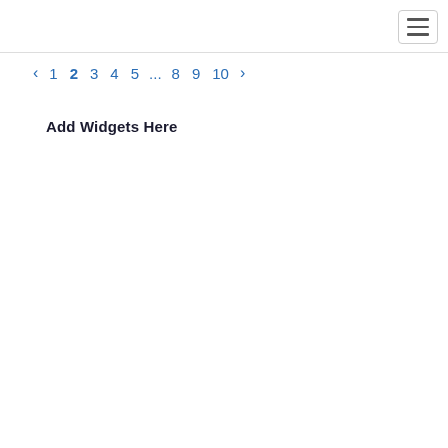[hamburger menu icon]
< 1 2 3 4 5 ... 8 9 10 >
Add Widgets Here